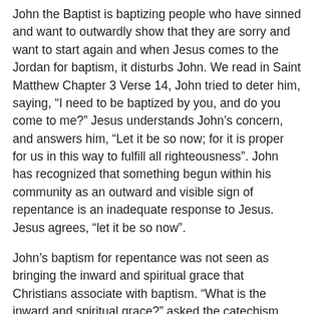John the Baptist is baptizing people who have sinned and want to outwardly show that they are sorry and want to start again and when Jesus comes to the Jordan for baptism, it disturbs John. We read in Saint Matthew Chapter 3 Verse 14, John tried to deter him, saying, “I need to be baptized by you, and do you come to me?” Jesus understands John’s concern, and answers him, “Let it be so now; for it is proper for us in this way to fulfill all righteousness”. John has recognized that something begun within his community as an outward and visible sign of repentance is an inadequate response to Jesus. Jesus agrees, “let it be so now”.
John’s baptism for repentance was not seen as bringing the inward and spiritual grace that Christians associate with baptism. “What is the inward and spiritual grace?” asked the catechism, and we answered, “A death unto sin and a new birth unto righteousness; for being by nature born in sin, and the children of wrath, we are hereby made the children of grace”.
Baptism in the early days of the church was a move away from being the outward penitential washing of John the Baptist’s time, though part of its symbolism is still the washing away of